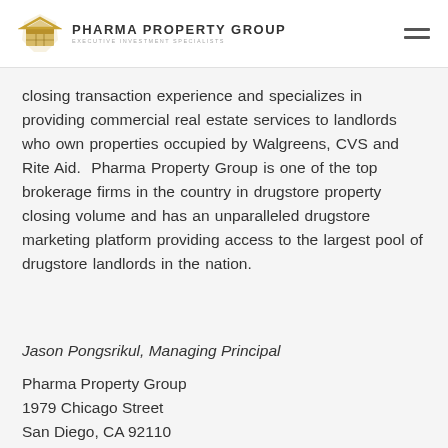PHARMA PROPERTY GROUP — Executive Investment Specialists
closing transaction experience and specializes in providing commercial real estate services to landlords who own properties occupied by Walgreens, CVS and Rite Aid.  Pharma Property Group is one of the top brokerage firms in the country in drugstore property closing volume and has an unparalleled drugstore marketing platform providing access to the largest pool of drugstore landlords in the nation.
Jason Pongsrikul, Managing Principal
Pharma Property Group
1979 Chicago Street
San Diego, CA 92110